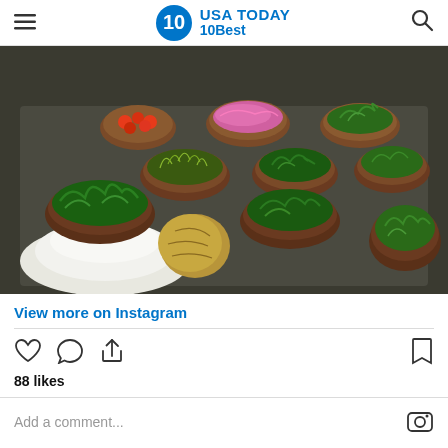USA TODAY 10Best
[Figure (photo): Overhead view of multiple wooden bowls filled with fresh green herbs and vegetables on a dark stone surface, with a mound of white salt and a coconut in the foreground. Small bowls of cherry tomatoes and pickled red onions visible in the background.]
View more on Instagram
88 likes
Add a comment...